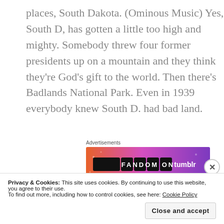places, South Dakota. (Ominous Music) Yes, South D, has gotten a little too high and mighty. Somebody threw four former presidents up on a mountain and they think they're God's gift to the world. Then there's Badlands National Park. Even in 1939 everybody knew South D. had bad land.
[Figure (other): Fandom on Tumblr advertisement banner with colorful gradient background (orange to purple) and text 'FANDOM ON tumblr']
You know, at first, I thought this had to be a mistake
Privacy & Cookies: This site uses cookies. By continuing to use this website, you agree to their use.
To find out more, including how to control cookies, see here: Cookie Policy
Close and accept